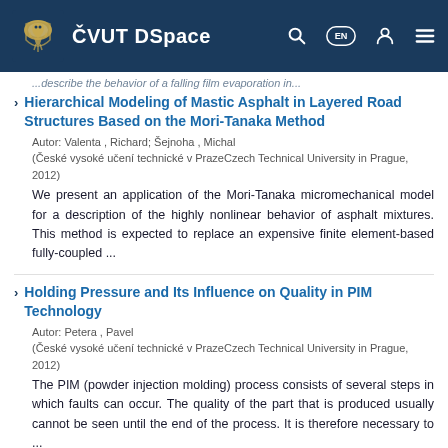ČVUT DSpace
...describe the behavior of a falling film evaporation in...
Hierarchical Modeling of Mastic Asphalt in Layered Road Structures Based on the Mori-Tanaka Method
Autor: Valenta , Richard; Šejnoha , Michal
(České vysoké učení technické v PrazeCzech Technical University in Prague, 2012)
We present an application of the Mori-Tanaka micromechanical model for a description of the highly nonlinear behavior of asphalt mixtures. This method is expected to replace an expensive finite element-based fully-coupled ...
Holding Pressure and Its Influence on Quality in PIM Technology
Autor: Petera , Pavel
(České vysoké učení technické v PrazeCzech Technical University in Prague, 2012)
The PIM (powder injection molding) process consists of several steps in which faults can occur. The quality of the part that is produced usually cannot be seen until the end of the process. It is therefore necessary to ...